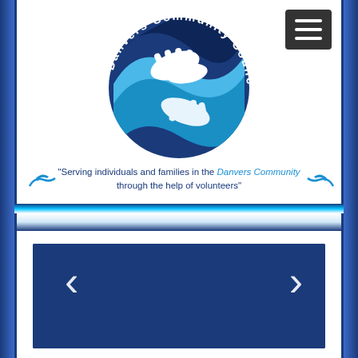[Figure (logo): Danvers Community Council circular logo with two hands reaching toward each other over a blue wave, text arcing around the circle reading 'Danvers Community Council']
"Serving individuals and families in the Danvers Community through the help of volunteers"
[Figure (screenshot): Dark navy blue image carousel/slideshow area with left and right navigation arrows (< and >) in white]